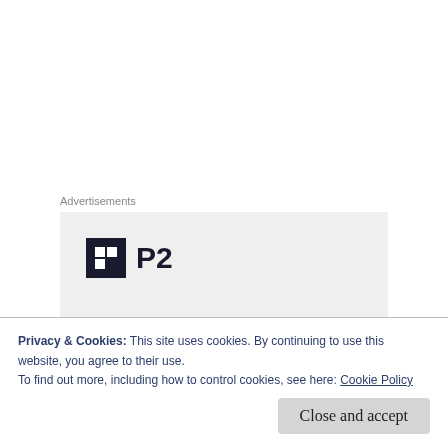Advertisements
[Figure (screenshot): Advertisement box with P2 logo (dark square icon with grid pattern and 'P2' text) and partial headline 'Getting your team on' on a light grey background]
We teens have to live in fear at our schools. We don't exactly think that this makes a 'conducive' environment for learning, do you? Nor do we think that arming our teachers makes for any more of a
Privacy & Cookies: This site uses cookies. By continuing to use this website, you agree to their use.
To find out more, including how to control cookies, see here: Cookie Policy
Close and accept